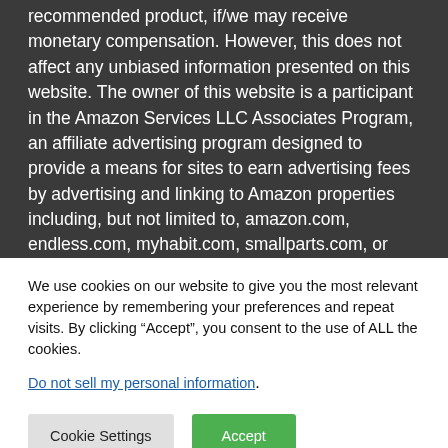recommended product, if/we may receive monetary compensation. However, this does not affect any unbiased information presented on this website. The owner of this website is a participant in the Amazon Services LLC Associates Program, an affiliate advertising program designed to provide a means for sites to earn advertising fees by advertising and linking to Amazon properties including, but not limited to, amazon.com, endless.com, myhabit.com, smallparts.com, or amazonwireless.com. Additional affiliate programs and networks may include
We use cookies on our website to give you the most relevant experience by remembering your preferences and repeat visits. By clicking “Accept”, you consent to the use of ALL the cookies.
Do not sell my personal information.